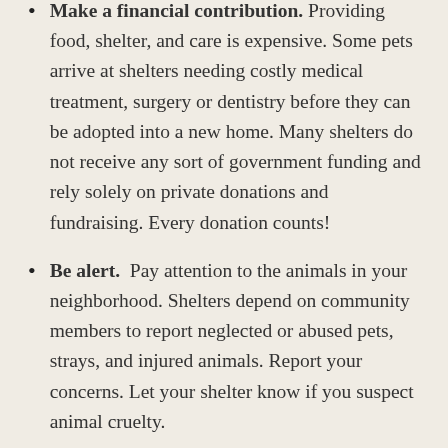Make a financial contribution. Providing food, shelter, and care is expensive. Some pets arrive at shelters needing costly medical treatment, surgery or dentistry before they can be adopted into a new home. Many shelters do not receive any sort of government funding and rely solely on private donations and fundraising. Every donation counts!
Be alert. Pay attention to the animals in your neighborhood. Shelters depend on community members to report neglected or abused pets, strays, and injured animals. Report your concerns. Let your shelter know if you suspect animal cruelty.
Spread the word. Social media is an excellent way to spread the word about Animal Shelter Appreciation Week. Follow your community shelter on Facebook and Instagram and share their posts. Even if you